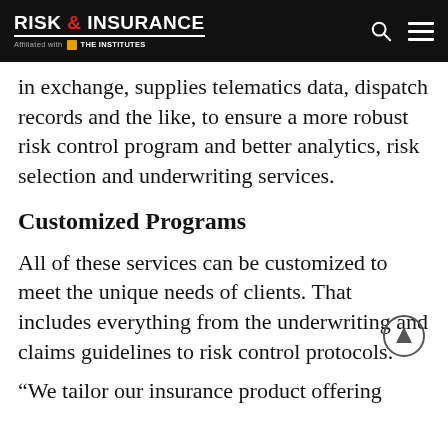RISK & INSURANCE — Affiliated with THE INSTITUTES
in exchange, supplies telematics data, dispatch records and the like, to ensure a more robust risk control program and better analytics, risk selection and underwriting services.
Customized Programs
All of these services can be customized to meet the unique needs of clients. That includes everything from the underwriting and claims guidelines to risk control protocols.
“We tailor our insurance product offering